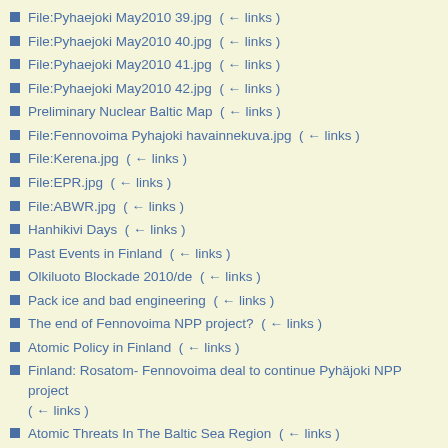File:Pyhaejoki May2010 39.jpg  (← links)
File:Pyhaejoki May2010 40.jpg  (← links)
File:Pyhaejoki May2010 41.jpg  (← links)
File:Pyhaejoki May2010 42.jpg  (← links)
Preliminary Nuclear Baltic Map  (← links)
File:Fennovoima Pyhajoki havainnekuva.jpg  (← links)
File:Kerena.jpg  (← links)
File:EPR.jpg  (← links)
File:ABWR.jpg  (← links)
Hanhikivi Days  (← links)
Past Events in Finland  (← links)
Olkiluoto Blockade 2010/de  (← links)
Pack ice and bad engineering  (← links)
The end of Fennovoima NPP project?  (← links)
Atomic Policy in Finland  (← links)
Finland: Rosatom- Fennovoima deal to continue Pyhäjoki NPP project  (← links)
Atomic Threats In The Baltic Sea Region  (← links)
PR:Case Pyhäjoki gathers international artists to Pyhäjoki  (← links)
PR:Case Pyhäjoki kokoaa taiteilijoita Pyhäjoelle  (← links)
PR:Case Pyhäjoki julkaisi ohjelmansa  (← links)
Fennovoima  (← links)
Atomic Threats In The Baltic Sea Region/Planning meeting – next steps